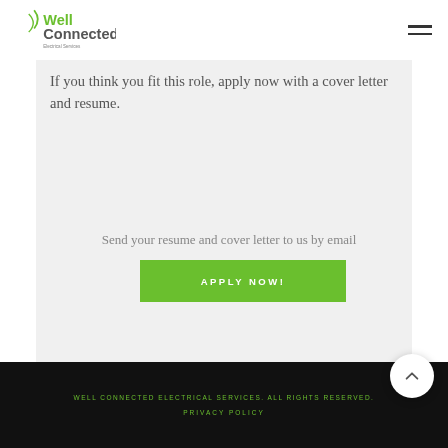[Figure (logo): Well Connected Electrical Services logo with green text and swoosh graphic]
If you think you fit this role, apply now with a cover letter and resume.
Send your resume and cover letter to us by email
APPLY NOW!
WELL CONNECTED ELECTRICAL SERVICES. ALL RIGHTS RESERVED.
PRIVACY POLICY